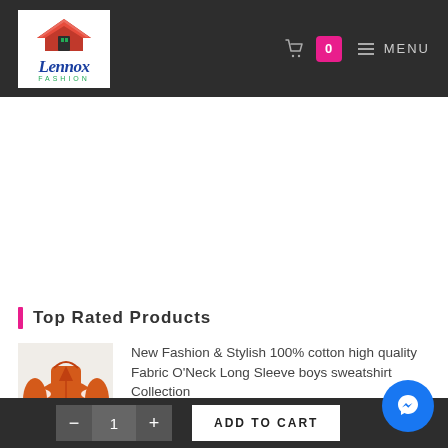[Figure (logo): Lennox Fashion logo — red rooftop chevron with house icon, blue italic script 'Lennox', green spaced 'FASHION' text below]
☰ MENU
Top Rated Products
[Figure (photo): Orange/red boys zip-up sweatshirt jacket with white stripe accents on shoulders, product photo]
New Fashion & Stylish 100% cotton high quality Fabric O'Neck Long Sleeve boys sweatshirt Collection
$2.80 $2.35
- 1 + ADD TO CART